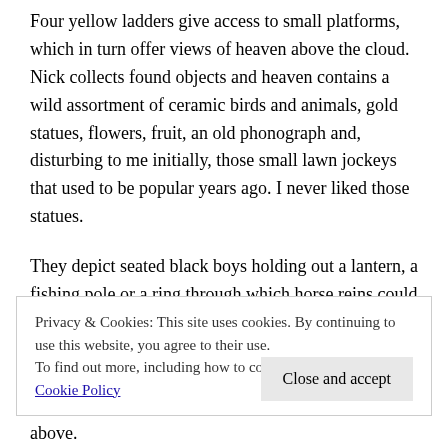Four yellow ladders give access to small platforms, which in turn offer views of heaven above the cloud. Nick collects found objects and heaven contains a wild assortment of ceramic birds and animals, gold statues, flowers, fruit, an old phonograph and, disturbing to me initially, those small lawn jockeys that used to be popular years ago. I never liked those statues.
They depict seated black boys holding out a lantern, a fishing pole or a ring through which horse reins could be tied. Nick rescues these statues, from flea markets and
Privacy & Cookies: This site uses cookies. By continuing to use this website, you agree to their use.
To find out more, including how to control cookies, see here: Cookie Policy
above.